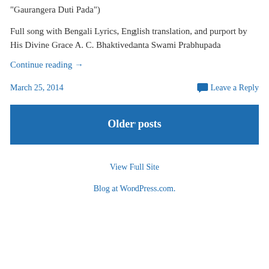“Gaurangera Duti Pada”)
Full song with Bengali Lyrics, English translation, and purport by His Divine Grace A. C. Bhaktivedanta Swami Prabhupada
Continue reading →
March 25, 2014
Leave a Reply
Older posts
View Full Site
Blog at WordPress.com.